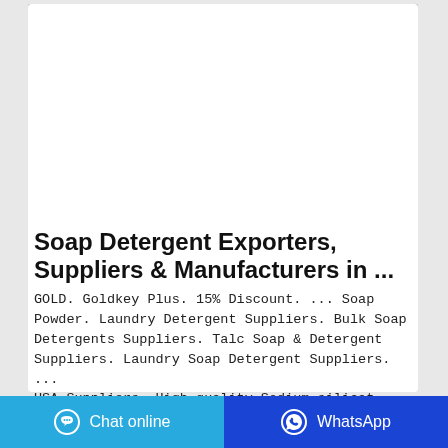[Figure (photo): Yellow bag of CLEACE Lemon Freshness laundry detergent powder on a grey background]
Soap Detergent Exporters, Suppliers & Manufacturers in ...
GOLD. Goldkey Plus. 15% Discount. ... Soap Powder. Laundry Detergent Suppliers. Bulk Soap Detergents Suppliers. Talc Soap & Detergent Suppliers. Laundry Soap Detergent Suppliers. ... USA Suppliers. High quality Sodium silicat... detergent powder,liquid soa... Casa Natura Laundry Soap/De...
Chat online | WhatsApp